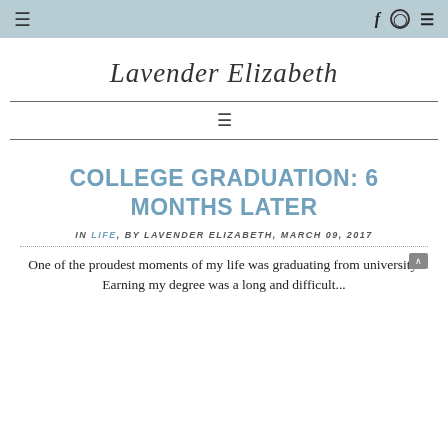≡  f  ⊕  ⊗
Lavender Elizabeth
COLLEGE GRADUATION: 6 MONTHS LATER
IN LIFE, BY LAVENDER ELIZABETH, MARCH 09, 2017
One of the proudest moments of my life was graduating from university. Earning my degree was a long and difficult...